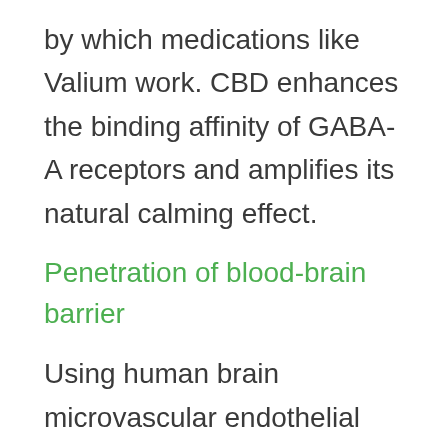by which medications like Valium work. CBD enhances the binding affinity of GABA-A receptors and amplifies its natural calming effect.
Penetration of blood-brain barrier
Using human brain microvascular endothelial cells as models, scientists tested the ability of CBD to penetrate the BBB by measuring transepithelial electrical resistance.